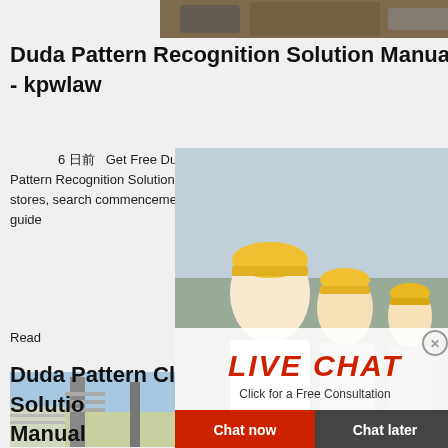[Figure (photo): Top banner image showing heavy machinery or construction equipment]
Duda Pattern Recognition Solution Manual - kpwlaw
6 日前   Get Free Duda Pattern Recognition Solution Manual Duda Pattern Recognition Solution Manual When people should go to the books stores, search commencement by shop, shelf by shelf, it is in proble comp guide
Read
[Figure (photo): Industrial facility with large metal structures, stairs, and processing equipment against blue sky]
Duda Pattern Classification Solution Manual
[Figure (infographic): Live chat popup overlay showing worker in hard hat with LIVE CHAT text and consultation call-to-action with Chat now and Chat later buttons]
[Figure (photo): Sidebar advertisement with orange background showing mining/crushing machinery images, discount offer, and enquiry contact information]